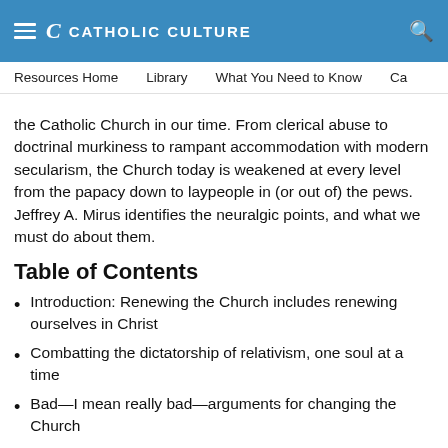CATHOLIC CULTURE
Resources Home  Library  What You Need to Know  Ca
the Catholic Church in our time. From clerical abuse to doctrinal murkiness to rampant accommodation with modern secularism, the Church today is weakened at every level from the papacy down to laypeople in (or out of) the pews. Jeffrey A. Mirus identifies the neuralgic points, and what we must do about them.
Table of Contents
Introduction: Renewing the Church includes renewing ourselves in Christ
Combatting the dictatorship of relativism, one soul at a time
Bad—I mean really bad—arguments for changing the Church
The first requirement of Church renewal is...